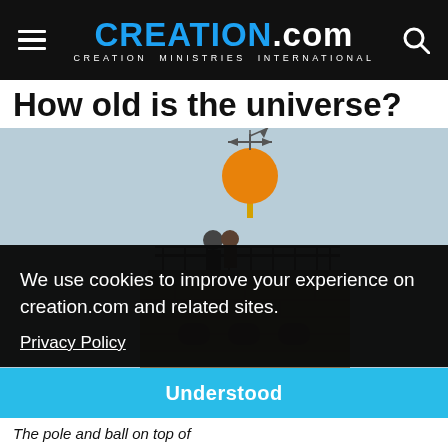CREATION.com — CREATION MINISTRIES INTERNATIONAL
How old is the universe?
[Figure (photo): A historic stone tower with a large orange ball and weather vane on top; two people stand on the observation deck railing at the top of the tower, against a light blue sky.]
We use cookies to improve your experience on creation.com and related sites.
Privacy Policy
Understood
The pole and ball on top of